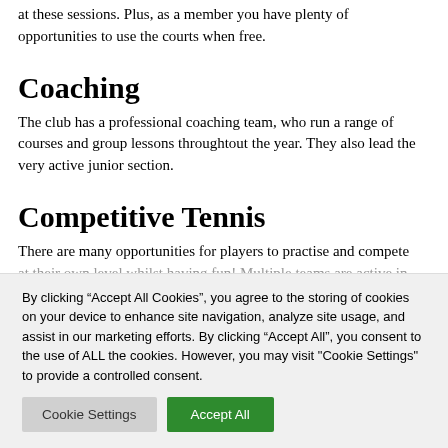at these sessions. Plus, as a member you have plenty of opportunities to use the courts when free.
Coaching
The club has a professional coaching team, who run a range of courses and group lessons throughtout the year. They also lead the very active junior section.
Competitive Tennis
There are many opportunities for players to practise and compete at their own level whilst having fun! Multiple teams are active in…
By clicking “Accept All Cookies”, you agree to the storing of cookies on your device to enhance site navigation, analyze site usage, and assist in our marketing efforts. By clicking “Accept All”, you consent to the use of ALL the cookies. However, you may visit "Cookie Settings" to provide a controlled consent.